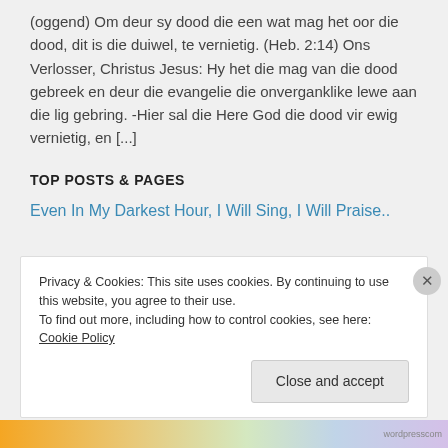(oggend) Om deur sy dood die een wat mag het oor die dood, dit is die duiwel, te vernietig. (Heb. 2:14) Ons Verlosser, Christus Jesus: Hy het die mag van die dood gebreek en deur die evangelie die onverganklike lewe aan die lig gebring. -Hier sal die Here God die dood vir ewig vernietig, en [...]
TOP POSTS & PAGES
Even In My Darkest Hour, I Will Sing, I Will Praise..
Privacy & Cookies: This site uses cookies. By continuing to use this website, you agree to their use.
To find out more, including how to control cookies, see here: Cookie Policy
Close and accept